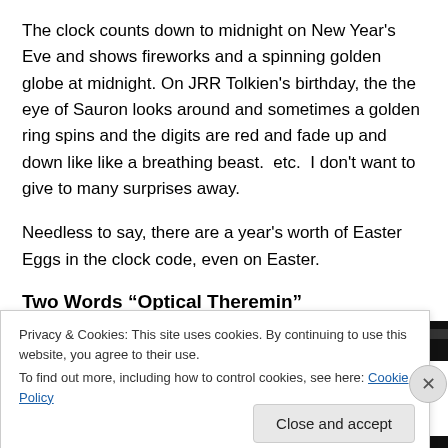The clock counts down to midnight on New Year's Eve and shows fireworks and a spinning golden globe at midnight. On JRR Tolkien's birthday, the the eye of Sauron looks around and sometimes a golden ring spins and the digits are red and fade up and down like like a breathing beast.  etc.  I don't want to give to many surprises away.
Needless to say, there are a year's worth of Easter Eggs in the clock code, even on Easter.
Two Words “Optical Theremin”
[Figure (photo): Partial view of a dark image with yellow/golden elements visible, partially obscured by cookie consent banner]
Privacy & Cookies: This site uses cookies. By continuing to use this website, you agree to their use.
To find out more, including how to control cookies, see here: Cookie Policy